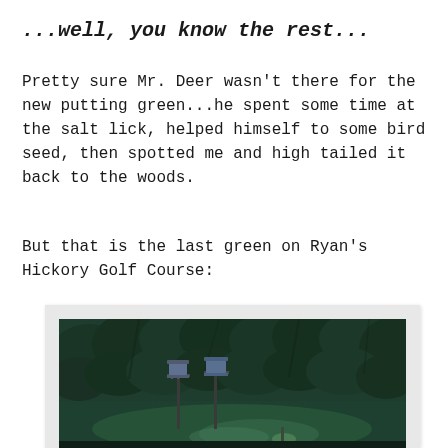...well, you know the rest...
Pretty sure Mr. Deer wasn't there for the new putting green...he spent some time at the salt lick, helped himself to some bird seed, then spotted me and high tailed it back to the woods.
But that is the last green on Ryan's Hickory Golf Course:
[Figure (photo): Outdoor nighttime or low-light photograph showing a wooded backyard scene with dense dark green trees in the background, bird feeders on poles in the middle ground, and green grass illuminated in the foreground. The photo is presented in a white/light gray frame like a printed photograph.]